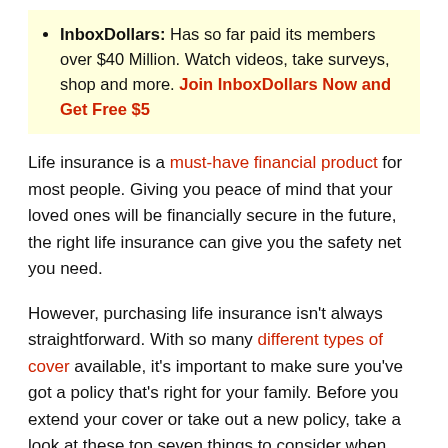InboxDollars: Has so far paid its members over $40 Million. Watch videos, take surveys, shop and more. Join InboxDollars Now and Get Free $5
Life insurance is a must-have financial product for most people. Giving you peace of mind that your loved ones will be financially secure in the future, the right life insurance can give you the safety net you need.
However, purchasing life insurance isn't always straightforward. With so many different types of cover available, it's important to make sure you've got a policy that's right for your family. Before you extend your cover or take out a new policy, take a look at these top seven things to consider when buying life insurance.